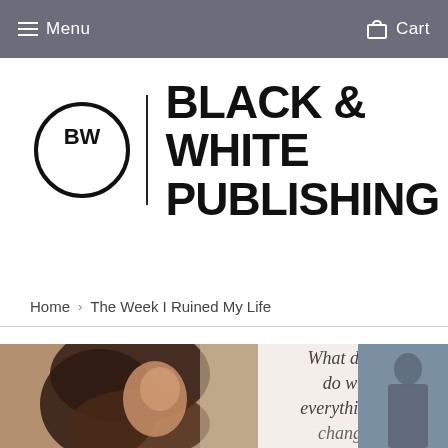Menu   Cart
[Figure (logo): Black & White Publishing logo: BW in a circle with a vertical divider bar, followed by BLACK & WHITE PUBLISHING in bold text]
Home › The Week I Ruined My Life
[Figure (photo): Book cover of 'The Week I Ruined My Life' showing a woman with long dark hair in profile on the left, overlaid text reading 'What do you do when everything has...' on a light background, and a man's silhouette on the right]